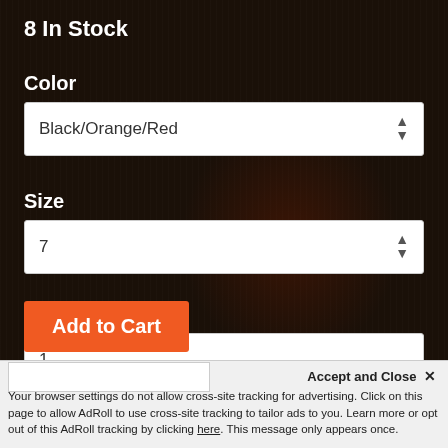8 In Stock
Color
Black/Orange/Red
Size
7
Quantity
1
Add to Cart
Accept and Close ✕
Your browser settings do not allow cross-site tracking for advertising. Click on this page to allow AdRoll to use cross-site tracking to tailor ads to you. Learn more or opt out of this AdRoll tracking by clicking here. This message only appears once.